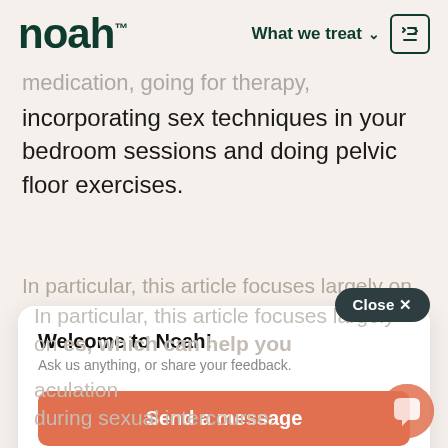noah™   What we treat ∨
medication, going for therapy, incorporating sex techniques in your bedroom sessions and doing pelvic floor exercises.
In particular, this article focuses largely on
Welcome to Noah!
Ask us anything, or share your feedback,
aculation during sexual intercourse.
Send a message
Pelvic floor exercises are great, as according to a 2005 study, strengthening